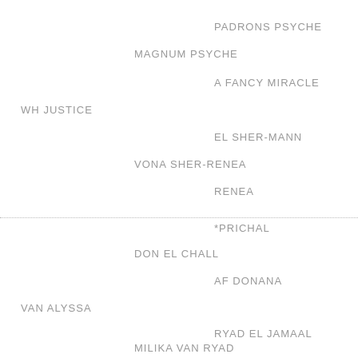PADRONS PSYCHE
MAGNUM PSYCHE
A FANCY MIRACLE
WH JUSTICE
EL SHER-MANN
VONA SHER-RENEA
RENEA
*PRICHAL
DON EL CHALL
AF DONANA
VAN ALYSSA
RYAD EL JAMAAL
MILIKA VAN RYAD
AMFIBIA VAN GOK